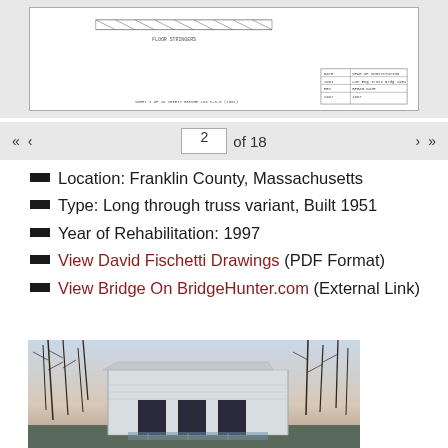[Figure (schematic): Engineering drawing/schematic of a bridge structure shown in a white box on a gray background]
2 of 18 — pagination bar with navigation arrows
Location: Franklin County, Massachusetts
Type: Long through truss variant, Built 1951
Year of Rehabilitation: 1997
View David Fischetti Drawings (PDF Format)
View Bridge On BridgeHunter.com (External Link)
[Figure (photo): Photograph of a covered bridge structure surrounded by bare winter trees, taken from outside showing the bridge entrance]